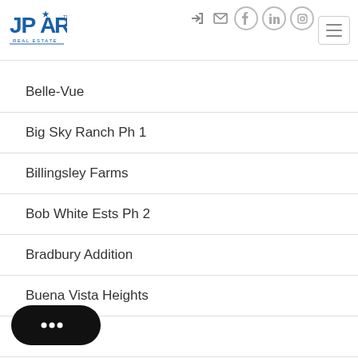[Figure (logo): JPAR Real Estate logo — blue text with stylized star]
Belle-Vue
Big Sky Ranch Ph 1
Billingsley Farms
Bob White Ests Ph 2
Bradbury Addition
Buena Vista Heights
…g Ph 5